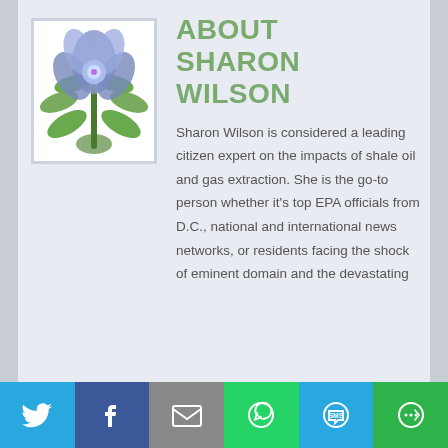[Figure (photo): Blue flower with green leaves on white background]
ABOUT SHARON WILSON
Sharon Wilson is considered a leading citizen expert on the impacts of shale oil and gas extraction. She is the go-to person whether it's top EPA officials from D.C., national and international news networks, or residents facing the shock of eminent domain and the devastating
[Figure (infographic): Social sharing bar with Twitter, Facebook, Email, WhatsApp, SMS, and More buttons]